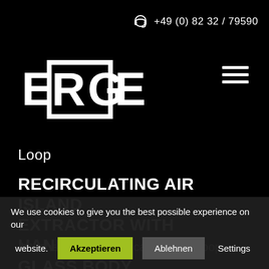[Figure (logo): ERGE brand logo — white letters E, R, G, E with a black rectangle behind R and G on a black background]
+49 (0) 82 32 / 79590
Loop
RECIRCULATING AIR ISLAND EXTRACTOR WITH HANDMADE GLASS BODY
Attached to thin steel cables, the Loop
We use cookies to give you the best possible experience on our website.  Akzeptieren  Ablehnen  Settings